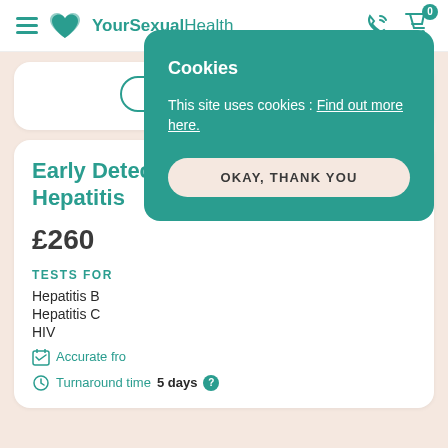YourSexualHealth
FIND OUT MORE
Early Detection HIV & Hepatitis
£260
TESTS FOR
Hepatitis B
Hepatitis C
HIV
Accurate fro
Turnaround time 5 days
Cookies

This site uses cookies : Find out more here.

OKAY, THANK YOU